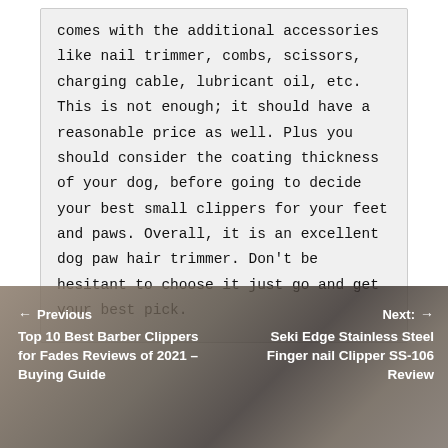comes with the additional accessories like nail trimmer, combs, scissors, charging cable, lubricant oil, etc. This is not enough; it should have a reasonable price as well. Plus you should consider the coating thickness of your dog, before going to decide your best small clippers for your feet and paws. Overall, it is an excellent dog paw hair trimmer. Don't be hesitant to choose it just go and get your best pick.
← Previous
Top 10 Best Barber Clippers for Fades Reviews of 2021 – Buying Guide
Next: →
Seki Edge Stainless Steel Finger nail Clipper SS-106 Review